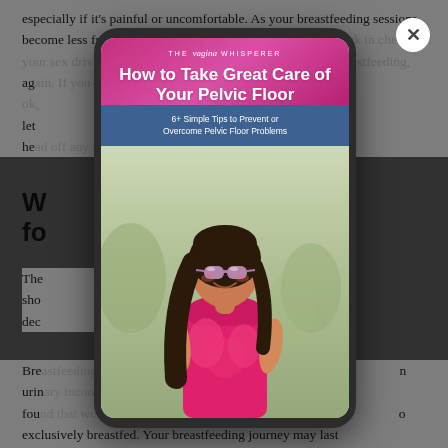especially if it's painful or uncomfortable. As your breastfeeding sessions become less frequent (and you start to get your hormones back in check, your sex drive may begin to come back. But while you're breastfeeding, let your partner know what's going on so you can head off any relationship issues before they start.
W...
fo...
The... sho... dec...
Bre... urin... fou... exclusively breastfed. Your breastfeeding journey may last a few days or several years and it is an individual
[Figure (illustration): Modal popup showing a tablet device displaying a book cover titled 'How to Take Great Care of Your Pelvic Floor - 6+ Simple Tips to Prevent or Overcome Pelvic Floor Problems' by The Vagina Whisperer, with a woman in a pink outfit on the cover. A close button (X) appears in the top-right corner of the modal.]